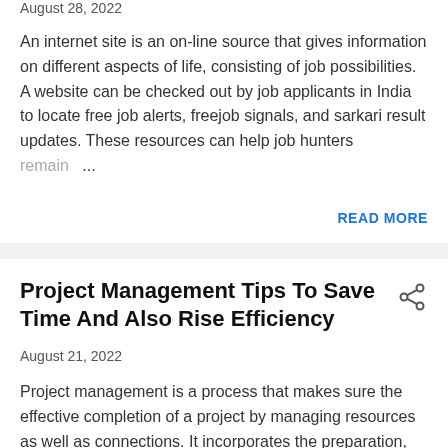August 28, 2022
An internet site is an on-line source that gives information on different aspects of life, consisting of job possibilities. A website can be checked out by job applicants in India to locate free job alerts, freejob signals, and sarkari result updates. These resources can help job hunters remain ...
READ MORE
Project Management Tips To Save Time And Also Rise Efficiency
August 21, 2022
Project management is a process that makes sure the effective completion of a project by managing resources as well as connections. It incorporates the preparation, coordination, and execution of tasks to fulfill desired